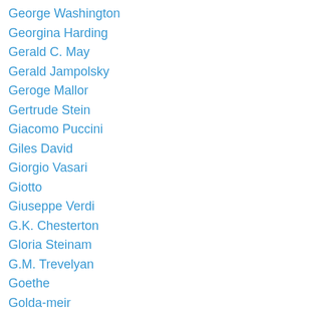George Washington
Georgina Harding
Gerald C. May
Gerald Jampolsky
Geroge Mallor
Gertrude Stein
Giacomo Puccini
Giles David
Giorgio Vasari
Giotto
Giuseppe Verdi
G.K. Chesterton
Gloria Steinam
G.M. Trevelyan
Goethe
Golda-meir
Gordon Hempton
Graham Swift
Gratitude
Gregg Braden
Greg Richardson